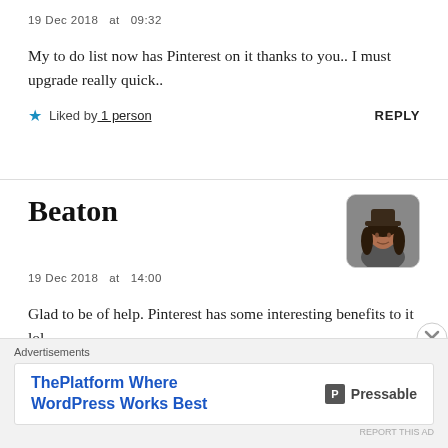19 Dec 2018 at 09:32
My to do list now has Pinterest on it thanks to you.. I must upgrade really quick..
Liked by 1 person
REPLY
Beaton
19 Dec 2018 at 14:00
Glad to be of help. Pinterest has some interesting benefits to it lol ~B
Liked by 1 person
REPLY
[Figure (photo): Avatar photo of Beaton, a person wearing a hat]
Advertisements
ThePlatform Where WordPress Works Best
Pressable